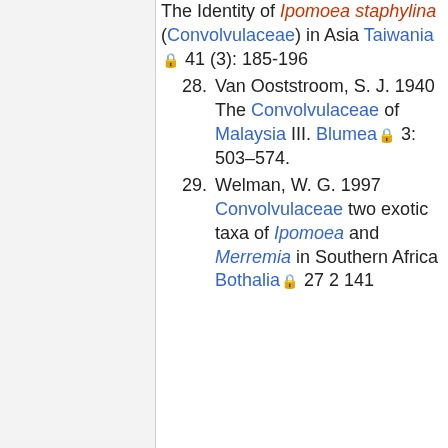The Identity of Ipomoea staphylina (Convolvulaceae) in Asia Taiwania 41 (3): 185-196
28. Van Ooststroom, S. J. 1940 The Convolvulaceae of Malaysia III. Blumea 3: 503–574.
29. Welman, W. G. 1997 Convolvulaceae two exotic taxa of Ipomoea and Merremia in Southern Africa Bothalia 27 2 141